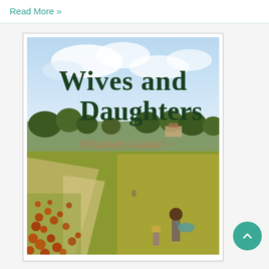Read More »
[Figure (illustration): Book cover of 'Wives and Daughters' by Elizabeth Gaskell. The cover shows a Monet-style impressionist painting of a poppy field with trees in the background and two women in Victorian dress walking through the field. The title 'Wives and Daughters' is displayed in large dark green serif font at the top, and the author name 'Elizabeth Gaskell' appears in salmon/terracotta colored text in the middle of the cover.]